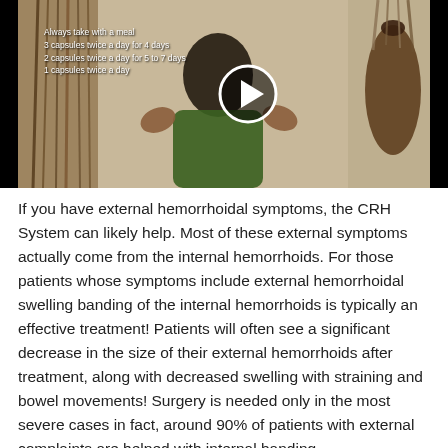[Figure (screenshot): Video thumbnail showing a woman in a green top seated indoors, with a play button overlay and text listing medication dosage instructions: 'Always take with a meal / 3 capsules twice a day for 4 days / 2 capsules twice a day for 5 to 7 days / 1 capsules twice a day']
If you have external hemorrhoidal symptoms, the CRH System can likely help. Most of these external symptoms actually come from the internal hemorrhoids. For those patients whose symptoms include external hemorrhoidal swelling banding of the internal hemorrhoids is typically an effective treatment! Patients will often see a significant decrease in the size of their external hemorrhoids after treatment, along with decreased swelling with straining and bowel movements! Surgery is needed only in the most severe cases in fact, around 90% of patients with external complaints are helped with internal banding.